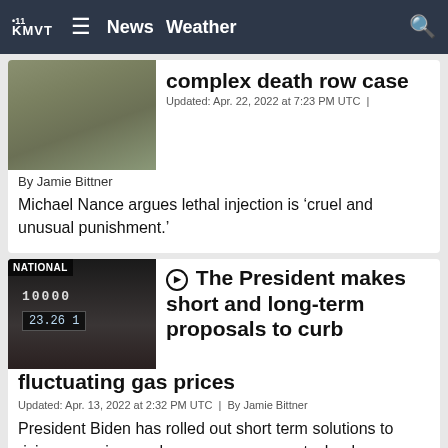KMVT .11 | News | Weather
complex death row case
Updated: Apr. 22, 2022 at 7:23 PM UTC |
By Jamie Bittner
Michael Nance argues lethal injection is ‘cruel and unusual punishment.’
▶ The President makes short and long-term proposals to curb fluctuating gas prices
Updated: Apr. 13, 2022 at 2:32 PM UTC | By Jamie Bittner
President Biden has rolled out short term solutions to rising gas prices as he encourages new technology.
Fewer